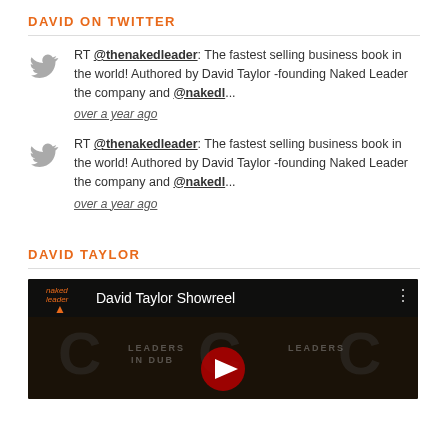DAVID ON TWITTER
RT @thenakedleader: The fastest selling business book in the world! Authored by David Taylor -founding Naked Leader the company and @nakedl... over a year ago
RT @thenakedleader: The fastest selling business book in the world! Authored by David Taylor -founding Naked Leader the company and @nakedl... over a year ago
DAVID TAYLOR
[Figure (screenshot): YouTube video thumbnail showing David Taylor Showreel with Naked Leader logo and Leaders in Dubai background]